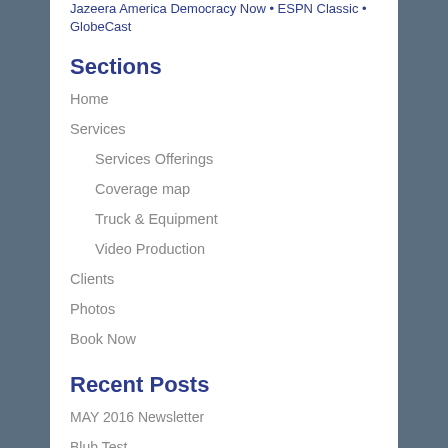Jazeera America Democracy Now • ESPN Classic • GlobeCast
Sections
Home
Services
Services Offerings
Coverage map
Truck & Equipment
Video Production
Clients
Photos
Book Now
Recent Posts
MAY 2016 Newsletter
Blub Test